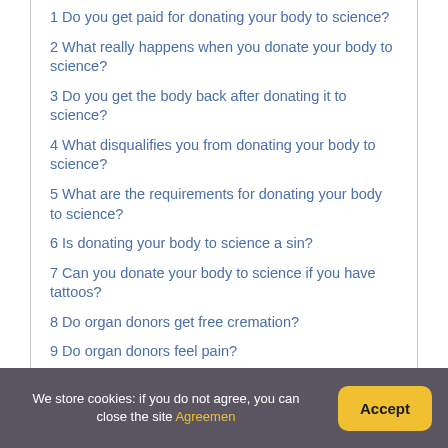1 Do you get paid for donating your body to science?
2 What really happens when you donate your body to science?
3 Do you get the body back after donating it to science?
4 What disqualifies you from donating your body to science?
5 What are the requirements for donating your body to science?
6 Is donating your body to science a sin?
7 Can you donate your body to science if you have tattoos?
8 Do organ donors get free cremation?
9 Do organ donors feel pain?
We store cookies: if you do not agree, you can close the site Agreement